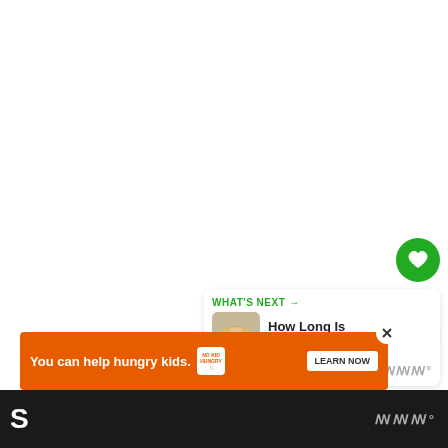[Figure (screenshot): White content area with UI elements including a green heart/like button, a share button, a count of 1, a 'What's Next' panel showing a chicken article thumbnail and title 'How Long Is Chicken Go...', and a Whisk logo watermark]
1
WHAT'S NEXT → How Long Is Chicken Go...
[Figure (infographic): Advertisement banner: orange background with text 'You can help hungry kids.' with No Kid Hungry logo and a 'LEARN NOW' button]
You can help hungry kids.
S